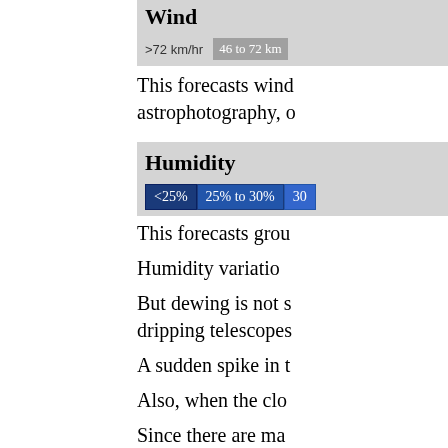Wind
>72 km/hr  46 to 72 km...
This forecasts wind... astrophotography, ...
Humidity
<25%  25% to 30%  30...
This forecasts grou...
Humidity variation...
But dewing is not s... dripping telescopes...
A sudden spike in t...
Also, when the clo...
Since there are ma...
Temperature